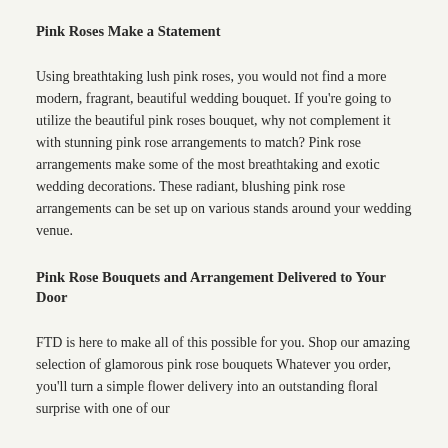Pink Roses Make a Statement
Using breathtaking lush pink roses, you would not find a more modern, fragrant, beautiful wedding bouquet. If you're going to utilize the beautiful pink roses bouquet, why not complement it with stunning pink rose arrangements to match? Pink rose arrangements make some of the most breathtaking and exotic wedding decorations. These radiant, blushing pink rose arrangements can be set up on various stands around your wedding venue.
Pink Rose Bouquets and Arrangement Delivered to Your Door
FTD is here to make all of this possible for you. Shop our amazing selection of glamorous pink rose bouquets Whatever you order, you'll turn a simple flower delivery into an outstanding floral surprise with one of our